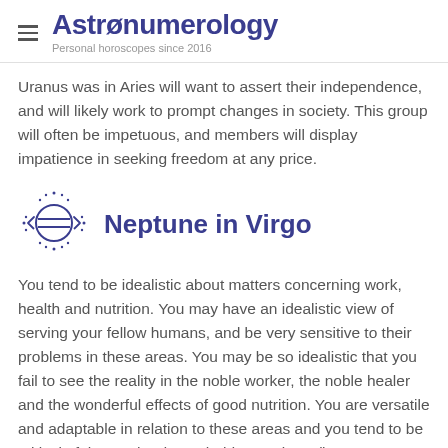Astronumerology – Personal horoscopes since 2016
Uranus was in Aries will want to assert their independence, and will likely work to prompt changes in society. This group will often be impetuous, and members will display impatience in seeking freedom at any price.
[Figure (illustration): Neptune planet icon: a circle with two horizontal lines through the middle, surrounded by radiating dots and small lines, in navy blue outline style]
Neptune in Virgo
You tend to be idealistic about matters concerning work, health and nutrition. You may have an idealistic view of serving your fellow humans, and be very sensitive to their problems in these areas. You may be so idealistic that you fail to see the reality in the noble worker, the noble healer and the wonderful effects of good nutrition. You are versatile and adaptable in relation to these areas and you tend to be critical of those who do not hold your views (but not